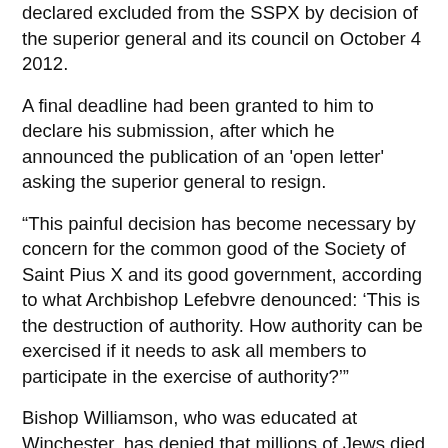declared excluded from the SSPX by decision of the superior general and its council on October 4 2012.
A final deadline had been granted to him to declare his submission, after which he announced the publication of an 'open letter' asking the superior general to resign.
“This painful decision has become necessary by concern for the common good of the Society of Saint Pius X and its good government, according to what Archbishop Lefebvre denounced: ‘This is the destruction of authority. How authority can be exercised if it needs to ask all members to participate in the exercise of authority?’”
Bishop Williamson, who was educated at Winchester, has denied that millions of Jews died in Nazi gas chambers and believes the Protocols of the Elders of Zion to be authentic. A television interview in which Bishop Williamson denied the Holocaust was broadcast in January 2009 on the same day that Pope Benedict XVI lifted the automatic excommunications of the four bishops, causing the Vatican embarrassment. Bishop Williamson apologised to the Pope